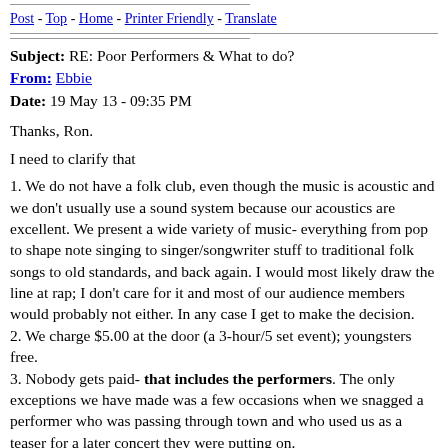Post - Top - Home - Printer Friendly - Translate
Subject: RE: Poor Performers & What to do?
From: Ebbie
Date: 19 May 13 - 09:35 PM
Thanks, Ron.
I need to clarify that
1. We do not have a folk club, even though the music is acoustic and we don't usually use a sound system because our acoustics are excellent. We present a wide variety of music- everything from pop to shape note singing to singer/songwriter stuff to traditional folk songs to old standards, and back again. I would most likely draw the line at rap; I don't care for it and most of our audience members would probably not either. In any case I get to make the decision.
2. We charge $5.00 at the door (a 3-hour/5 set event); youngsters free.
3. Nobody gets paid- that includes the performers. The only exceptions we have made was a few occasions when we snagged a performer who was passing through town and who used us as a teaser for a later concert they were putting on.